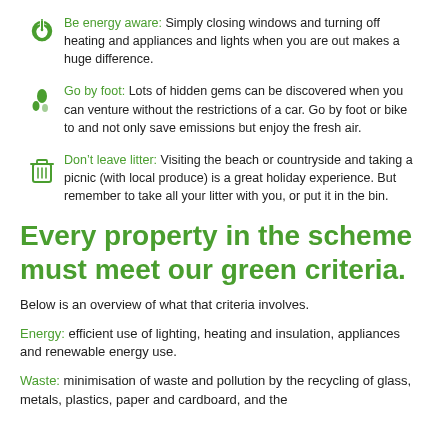Be energy aware: Simply closing windows and turning off heating and appliances and lights when you are out makes a huge difference.
Go by foot: Lots of hidden gems can be discovered when you can venture without the restrictions of a car. Go by foot or bike to and not only save emissions but enjoy the fresh air.
Don’t leave litter: Visiting the beach or countryside and taking a picnic (with local produce) is a great holiday experience. But remember to take all your litter with you, or put it in the bin.
Every property in the scheme must meet our green criteria.
Below is an overview of what that criteria involves.
Energy: efficient use of lighting, heating and insulation, appliances and renewable energy use.
Waste: minimisation of waste and pollution by the recycling of glass, metals, plastics, paper and cardboard, and the